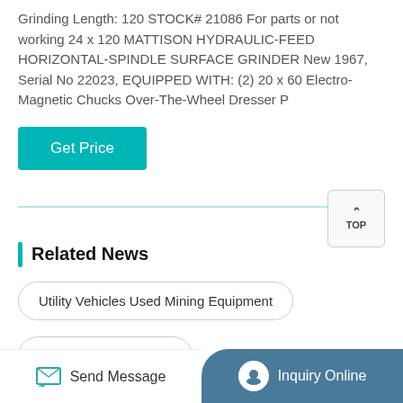Grinding Length: 120 STOCK# 21086 For parts or not working 24 x 120 MATTISON HYDRAULIC-FEED HORIZONTAL-SPINDLE SURFACE GRINDER New 1967, Serial No 22023, EQUIPPED WITH: (2) 20 x 60 Electro-Magnetic Chucks Over-The-Wheel Dresser P
Get Price
Related News
Utility Vehicles Used Mining Equipment
Vsi Crusher Recycling
Send Message
Inquiry Online